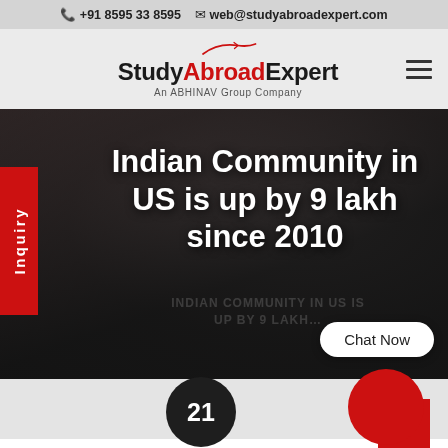📞 +91 8595 33 8595   ✉ web@studyabroadexpert.com
[Figure (logo): StudyAbroadExpert logo with red swoosh accent above, text 'Study' in black, 'Abroad' in red, 'Expert' in black, tagline 'An ABHINAV Group Company' below]
[Figure (screenshot): Dark hero banner with background image of microphone/speaker, red Inquiry sidebar tab on left, headline text 'Indian Community in US is up by 9 lakh since 2010' in white bold, faint watermark text, and 'Chat Now' button bottom right]
Indian Community in US is up by 9 lakh since 2010
[Figure (other): Bottom decorative area with dark circle showing '21' and red circle with red square accent on right]